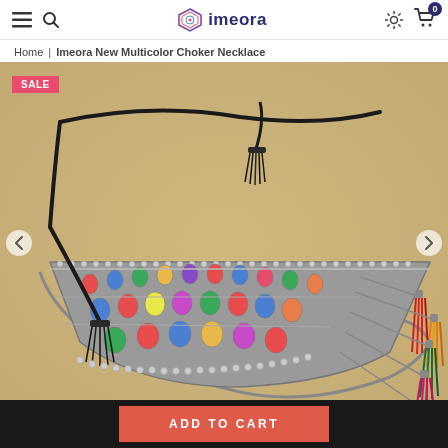Imeora – Navigation header with hamburger menu, search, logo, settings, and cart (0 items)
Home | Imeora New Multicolor Choker Necklace
[Figure (photo): Imeora New Multicolor Choker Necklace product photo on golden/yellow fabric background. A wide silver tribal choker necklace with colorful enamel stone work (red, blue, green, pink, yellow) and multicolor tassels on the right side (red, orange, green, pink). Black cord strap with black tassel on one end. SALE badge in top-left corner. Left and right navigation arrows.]
ADD TO CART